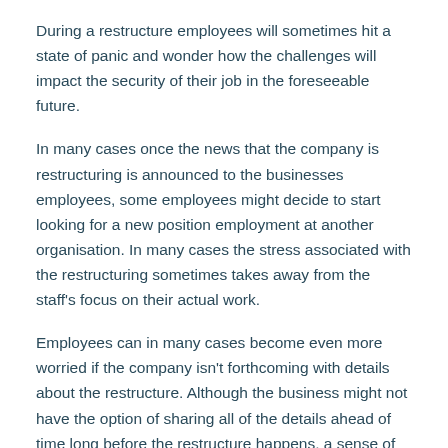During a restructure employees will sometimes hit a state of panic and wonder how the challenges will impact the security of their job in the foreseeable future.
In many cases once the news that the company is restructuring is announced to the businesses employees, some employees might decide to start looking for a new position employment at another organisation. In many cases the stress associated with the restructuring sometimes takes away from the staff's focus on their actual work.
Employees can in many cases become even more worried if the company isn't forthcoming with details about the restructure. Although the business might not have the option of sharing all of the details ahead of time long before the restructure happens, a sense of transparency that allows employees to have some idea of what's happening will most likely put your employees at ease and make them feel less afraid of the unknown and most importantly less likely to want to start looking for a new place to work.